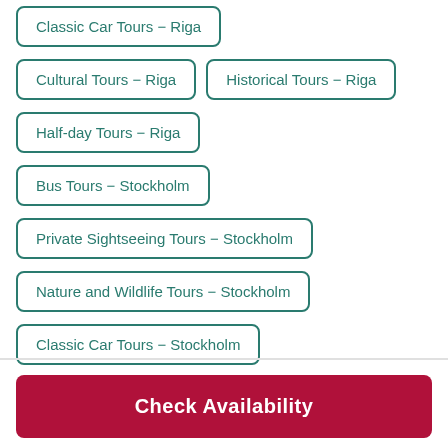Classic Car Tours - Riga
Cultural Tours - Riga
Historical Tours - Riga
Half-day Tours - Riga
Bus Tours - Stockholm
Private Sightseeing Tours - Stockholm
Nature and Wildlife Tours - Stockholm
Classic Car Tours - Stockholm
Check Availability